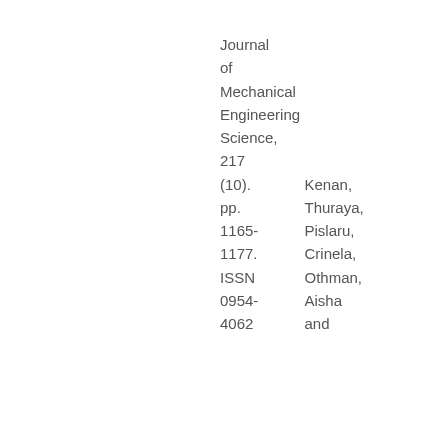Journal of Mechanical Engineering Science, 217 (10). pp. 1165-1177. ISSN 0954-4062
Kenan, Thuraya, Pislaru, Crinela, Othman, Aisha and